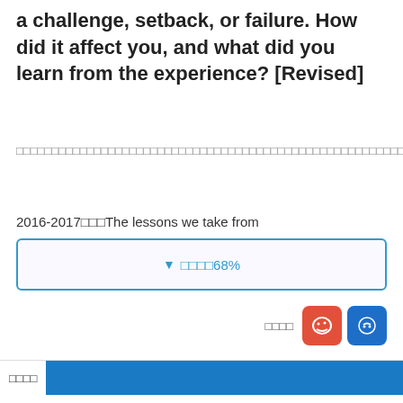a challenge, setback, or failure. How did it affect you, and what did you learn from the experience? [Revised]
□□□□□□□□□□□□□□□□□□□□□□□□□□□□□□□□□□□□□□□□□□□□□□□□□□□□□□□□□□□□□□□□□□□□□□
2016-2017□□□The lessons we take from
▼ □□□□68%
□□□□
□□□□□□□□□□□□□□
□□□□□□□□□□□□□□
□□□□□□□□□□□□□□□□□6□□□□□□□